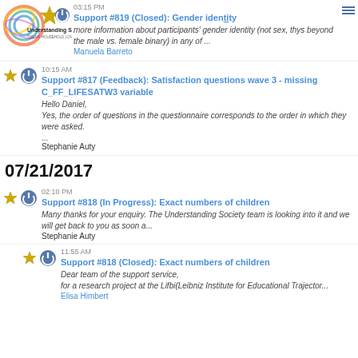03:15 PM Support #819 (Closed): Gender identity — more information about participants' gender identity (not sex, thys beyond the male vs. female binary) in any of ... Manuela Barreto
10:15 AM Support #817 (Feedback): Satisfaction questions wave 3 - missing C_FF_LIFESATW3 variable — Hello Daniel, Yes, the order of questions in the questionnaire corresponds to the order in which they were asked. ... Stephanie Auty
07/21/2017
02:10 PM Support #818 (In Progress): Exact numbers of children — Many thanks for your enquiry. The Understanding Society team is looking into it and we will get back to you as soon a... Stephanie Auty
11:55 AM Support #818 (Closed): Exact numbers of children — Dear team of the support service, for a research project at the Lifbi(Leibniz Institute for Educational Trajector... Elisa Himbert